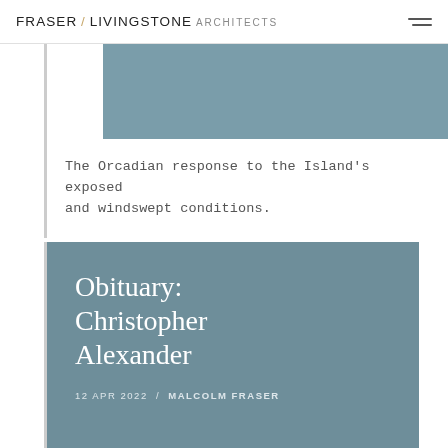FRASER / LIVINGSTONE ARCHITECTS
[Figure (photo): Muted blue-grey architectural or landscape image strip at top of content area]
The Orcadian response to the Island's exposed and windswept conditions.
[Figure (photo): Blue-grey toned card image with overlaid text: Obituary: Christopher Alexander, 12 APR 2022 / MALCOLM FRASER]